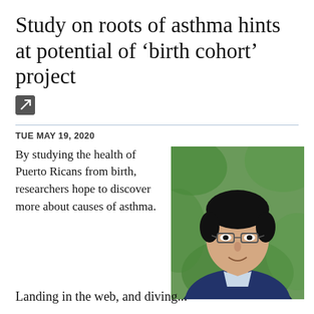Study on roots of asthma hints at potential of ‘birth cohort’ project
TUE MAY 19, 2020
By studying the health of Puerto Ricans from birth, researchers hope to discover more about causes of asthma.
[Figure (photo): Portrait photo of a man with glasses wearing a dark suit, smiling, with green foliage in the background.]
Landing in the web, and diving...